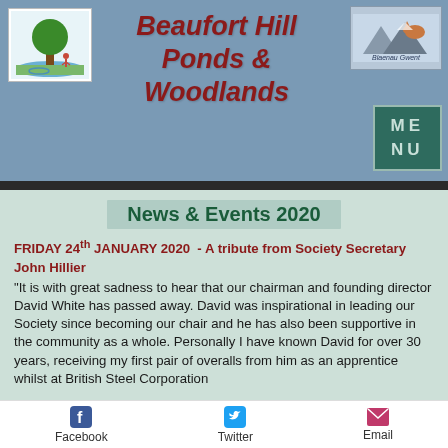Beaufort Hill Ponds & Woodlands
News & Events 2020
FRIDAY 24th JANUARY 2020 - A tribute from Society Secretary John Hillier "It is with great sadness to hear that our chairman and founding director David White has passed away. David was inspirational in leading our Society since becoming our chair and he has also been supportive in the community as a whole. Personally I have known David for over 30 years, receiving my first pair of overalls from him as an apprentice whilst at British Steel Corporation
Facebook  Twitter  Email